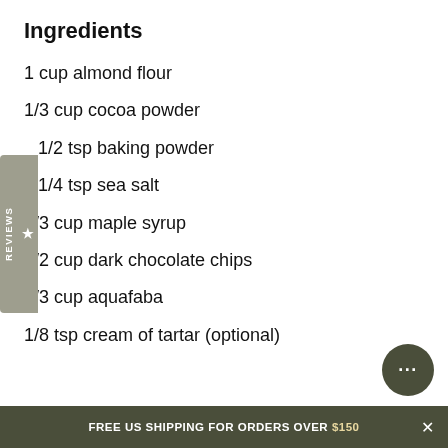Ingredients
1 cup almond flour
1/3 cup cocoa powder
1/2 tsp baking powder
1/4 tsp sea salt
1/3 cup maple syrup
1/2 cup dark chocolate chips
1/3 cup aquafaba
1/8 tsp cream of tartar (optional)
FREE US SHIPPING FOR ORDERS OVER $150